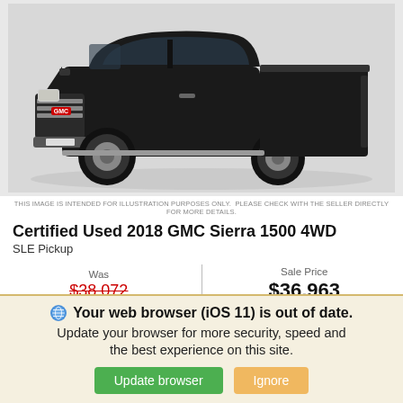[Figure (photo): Black GMC Sierra 1500 pickup truck on white background, front three-quarter view showing the grille with GMC logo, headlights, and truck bed.]
THIS IMAGE IS INTENDED FOR ILLUSTRATION PURPOSES ONLY. PLEASE CHECK WITH THE SELLER DIRECTLY FOR MORE DETAILS.
Certified Used 2018 GMC Sierra 1500 4WD
SLE Pickup
Was $38,072 | Sale Price $36,963
Automatic  4WD  84,864 KM  Gas V8 5.3L/325
Your web browser (iOS 11) is out of date. Update your browser for more security, speed and the best experience on this site.